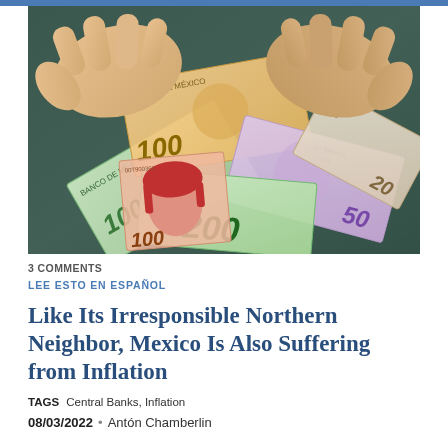[Figure (photo): Hands holding a fan of Mexican peso banknotes including 100, 200, 50 and 20 peso bills against a dark background.]
3 COMMENTS
LEE ESTO EN ESPAÑOL
Like Its Irresponsible Northern Neighbor, Mexico Is Also Suffering from Inflation
TAGS   Central Banks, Inflation
08/03/2022  •  Antón Chamberlin